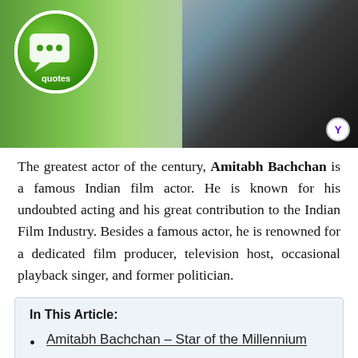[Figure (photo): Banner image showing a man in a black tuxedo/suit on the right side with a blurred green background on the left containing a circular green logo with 'quotes' text and a speech bubble icon. A Yahoo badge appears in the bottom right corner.]
The greatest actor of the century, Amitabh Bachchan is a famous Indian film actor. He is known for his undoubted acting and his great contribution to the Indian Film Industry. Besides a famous actor, he is renowned for a dedicated film producer, television host, occasional playback singer, and former politician.
In This Article:
Amitabh Bachchan – Star of the Millennium
Amitabh Bachchan Quotes